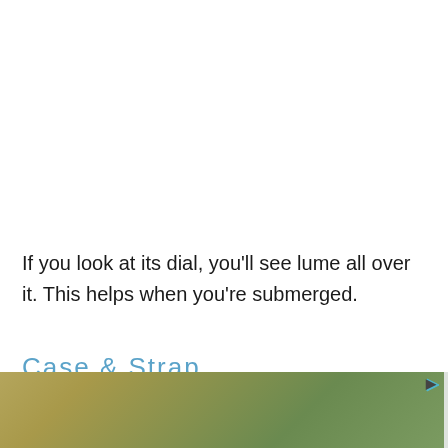If you look at its dial, you'll see lume all over it. This helps when you're submerged.
Case  &  Strap
It's made from stainless steel. Its face isn't that
[Figure (other): Advertisement banner for Lord of the Rings merchandise on BoxLunch, featuring a green nature-themed background with the Lord of the Rings logo in gold and a 'Shop Now' button.]